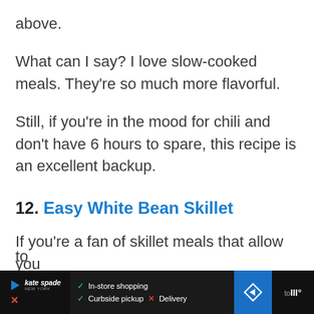above.
What can I say? I love slow-cooked meals. They're so much more flavorful.
Still, if you're in the mood for chili and don't have 6 hours to spare, this recipe is an excellent backup.
12. Easy White Bean Skillet
If you're a fan of skillet meals that allow you to
[Figure (other): Advertisement bar at the bottom: Kate Spade logo on left, checkmarks for In-store shopping and Curbside pickup, X for Delivery, navigation arrow icon on right, partial text on far right.]